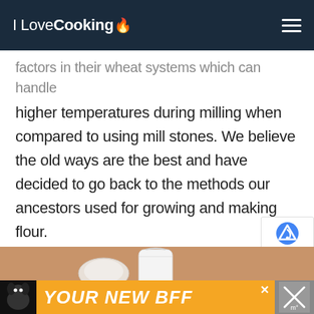I Love Cooking
factors in their wheat systems which can handle higher temperatures during milling when compared to using mill stones. We believe the old ways are the best and have decided to go back to the methods our ancestors used for growing and making flour.
[Figure (photo): A flat lay photo on a tan/brown background showing a round plate with flour and a white cloth flour bag]
[Figure (infographic): Orange advertisement banner with a dog image and text YOUR NEW BFF with a close button]